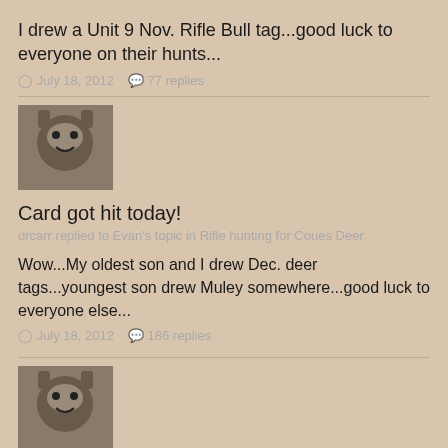I drew a Unit 9 Nov. Rifle Bull tag...good luck to everyone on their hunts...
July 18, 2012   77 replies
[Figure (photo): Avatar photo showing a person or animal close-up]
Card got hit today!
drcarr replied to Evan's topic in Rifle hunting for Coues Deer
Wow...My oldest son and I drew Dec. deer tags...youngest son drew Muley somewhere...good luck to everyone else...
July 18, 2012   186 replies
[Figure (photo): Avatar photo showing a person or animal close-up]
Who taught you to hunt?
drcarr replied to naturegirl's topic in The Campfire
Donald Ray Carr Sr. was my very 1st hunting and fishing